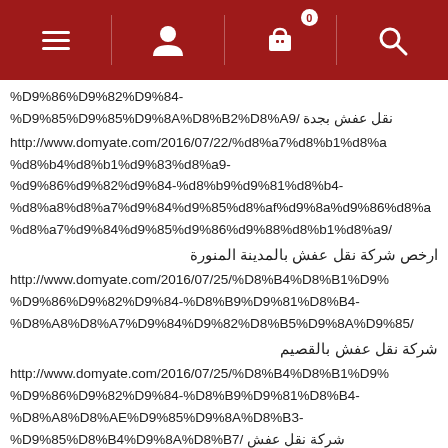Navigation bar with menu, profile, cart (badge: 0), and search icons
%D9%86%D9%82%D9%84-%D9%85%D9%85%D9%8A%D8%B2%D8%A9/ نقل عفش بجدة
http://www.domyate.com/2016/07/22/%d8%a7%d8%b1%d8%a%d8%b4%d8%b1%d9%83%d8%a9-%d9%86%d9%82%d9%84-%d8%b9%d9%81%d8%b4-%d8%a8%d8%a7%d9%84%d9%85%d8%af%d9%8a%d9%86%d8%a%d8%a7%d9%84%d9%85%d9%86%d9%88%d8%b1%d8%a9/
ارخص شركة نقل عفش بالمدينة المنورة
http://www.domyate.com/2016/07/25/%D8%B4%D8%B1%D9%8%D9%86%D9%82%D9%84-%D8%B9%D9%81%D8%B4-%D8%A8%D8%A7%D9%84%D9%82%D8%B5%D9%8A%D9%85/
شركة نقل عفش بالقصيم
http://www.domyate.com/2016/07/25/%D8%B4%D8%B1%D9%8%D9%86%D9%82%D9%84-%D8%B9%D9%81%D8%B4-%D8%A8%D8%AE%D9%85%D9%8A%D8%B3-%D9%85%D8%B4%D9%8A%D8%B7/
شركة نقل عفش